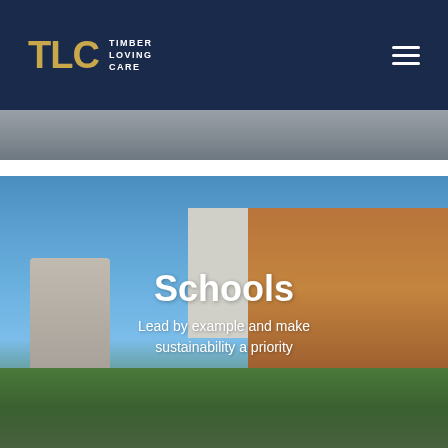TLC Timber Loving Care — navigation bar with hamburger menu
[Figure (photo): Partial view of a building rooftop with industrial structures against a grey sky]
[Figure (photo): School building exterior with blue sky background, cylindrical silo structure on left, multi-storey timber-clad building on right, green foreground]
Schools
Lead by example and make sustainability a priority